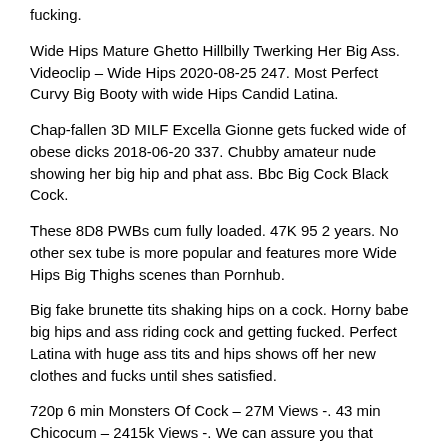fucking.
Wide Hips Mature Ghetto Hillbilly Twerking Her Big Ass. Videoclip – Wide Hips 2020-08-25 247. Most Perfect Curvy Big Booty with wide Hips Candid Latina.
Chap-fallen 3D MILF Excella Gionne gets fucked wide of obese dicks 2018-06-20 337. Chubby amateur nude showing her big hip and phat ass. Bbc Big Cock Black Cock.
These 8D8 PWBs cum fully loaded. 47K 95 2 years. No other sex tube is more popular and features more Wide Hips Big Thighs scenes than Pornhub.
Big fake brunette tits shaking hips on a cock. Horny babe big hips and ass riding cock and getting fucked. Perfect Latina with huge ass tits and hips shows off her new clothes and fucks until shes satisfied.
720p 6 min Monsters Of Cock – 27M Views -. 43 min Chicocum – 2415k Views -. We can assure you that nobody has more variety of porn content than we do.